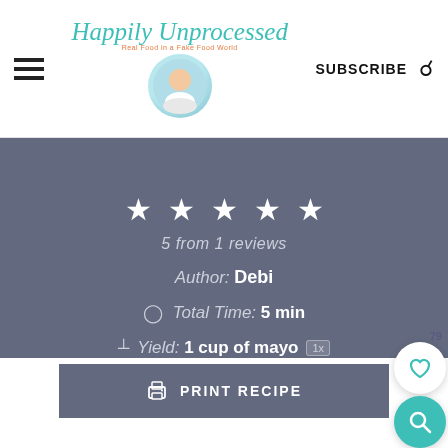Happily Unprocessed — SUBSCRIBE
★ ★ ★ ★ ★
5 from 1 reviews
Author: Debi
Total Time: 5 min
Yield: 1 cup of mayo 1x
PRINT RECIPE